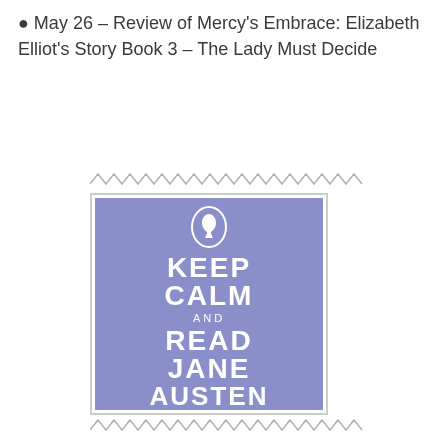May 26 – Review of Mercy's Embrace: Elizabeth Elliot's Story Book 3 – The Lady Must Decide
[Figure (illustration): A purple/lavender book cover styled as a 'Keep Calm and Carry On' poster, featuring a white silhouette cameo at the top and the text 'KEEP CALM AND READ JANE AUSTEN' in white bold lettering on a periwinkle background.]